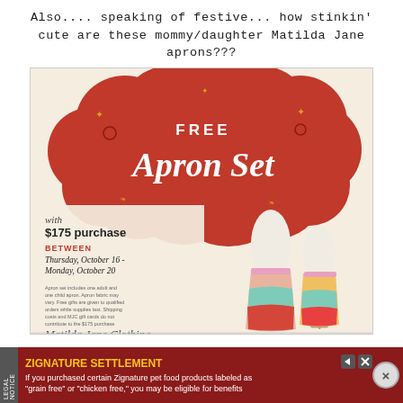Also.... speaking of festive... how stinkin' cute are these mommy/daughter Matilda Jane aprons???
[Figure (illustration): Matilda Jane Clothing promotional advertisement showing a 'FREE Apron Set' offer. Red decorative cloud shape at top with 'FREE Apron Set' text in white script/serif. Below shows two dress forms wearing colorful layered aprons. Left panel has text: 'with $175 purchase BETWEEN Thursday, October 16 - Monday, October 20' with fine print and Matilda Jane Clothing signature.]
[Figure (infographic): Legal notice advertisement banner with dark red background. 'LEGAL NOTICE' tab on left. Bold yellow text 'ZIGNATURE SETTLEMENT'. White body text: 'If you purchased certain Zignature pet food products labeled as "grain free" or "chicken free," you may be eligible for benefits'. Close button (X) circle on right.]